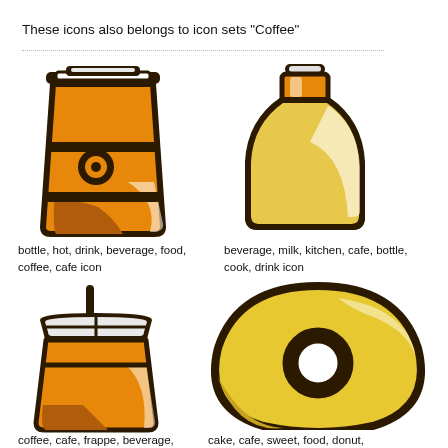These icons also belongs to icon sets "Coffee"
[Figure (illustration): Coffee cup to-go icon with orange/brown fill and dark brown outline]
bottle, hot, drink, beverage, food, coffee, cafe icon
[Figure (illustration): Milk bottle icon with orange/yellow fill and dark brown outline]
beverage, milk, kitchen, cafe, bottle, cook, drink icon
[Figure (illustration): Iced coffee cup with straw icon, orange/brown fill and dark brown outline]
coffee, cafe, frappe, beverage,
[Figure (illustration): Donut/pastry icon with yellow and brown fill and dark brown outline]
cake, cafe, sweet, food, donut,